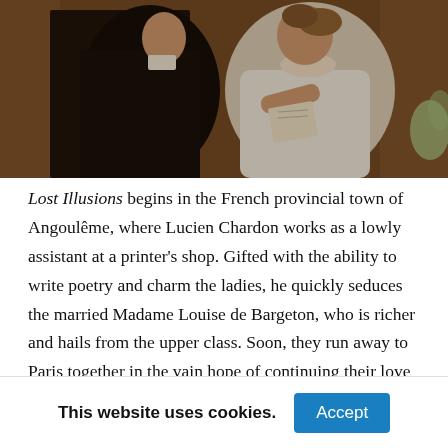[Figure (photo): Two people in period costume (early 19th century) facing each other in an ornate interior. A man in dark coat stands with his back to the viewer, facing a woman in a white Regency-era dress who holds a letter or paper.]
Lost Illusions begins in the French provincial town of Angoulême, where Lucien Chardon works as a lowly assistant at a printer's shop. Gifted with the ability to write poetry and charm the ladies, he quickly seduces the married Madame Louise de Bargeton, who is richer and hails from the upper class. Soon, they run away to Paris together in the vain hope of continuing their love affair away from disapproving eyes.
This website uses cookies.